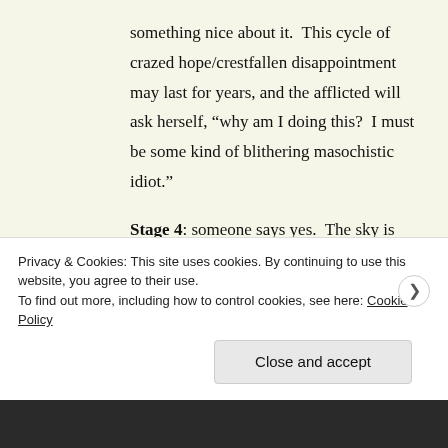something nice about it.  This cycle of crazed hope/crestfallen disappointment may last for years, and the afflicted will ask herself, “why am I doing this?  I must be some kind of blithering masochistic idiot.”
Stage 4: someone says yes.  The sky is ripped open, angels sing; the afflicted is elated that she hasn’t spent the last few years/decades/epochs talking to
Privacy & Cookies: This site uses cookies. By continuing to use this website, you agree to their use.
To find out more, including how to control cookies, see here: Cookie Policy
Close and accept